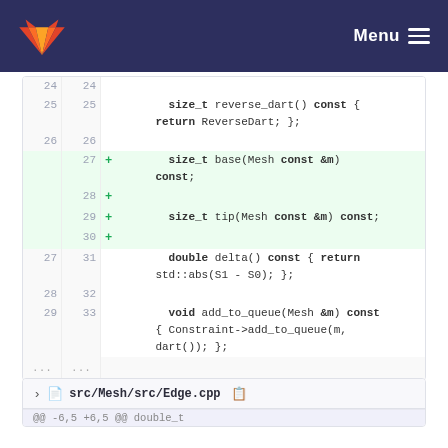GitLab Menu
[Figure (screenshot): Code diff view showing lines 24-33 of a C++ file with added lines 27-30 highlighted in green. Lines show size_t reverse_dart() const, return ReverseDart; }, size_t base(Mesh const &m) const;, size_t tip(Mesh const &m) const;, double delta() const { return std::abs(S1 - S0); };, void add_to_queue(Mesh &m) const { Constraint->add_to_queue(m, dart()); };]
[Figure (screenshot): File section header showing src/Mesh/src/Edge.cpp with hunk header @@ -6,5 +6,5 @@ double_t]